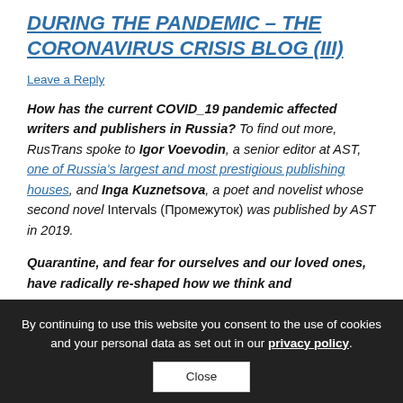DURING THE PANDEMIC – THE CORONAVIRUS CRISIS BLOG (III)
Leave a Reply
How has the current COVID_19 pandemic affected writers and publishers in Russia? To find out more, RusTrans spoke to Igor Voevodin, a senior editor at AST, one of Russia's largest and most prestigious publishing houses, and Inga Kuznetsova, a poet and novelist whose second novel Intervals (Промежуток) was published by AST in 2019.
Quarantine, and fear for ourselves and our loved ones, have radically re-shaped how we think and
By continuing to use this website you consent to the use of cookies and your personal data as set out in our privacy policy. Close